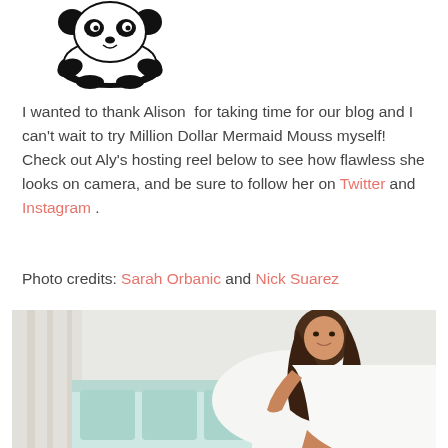[Figure (logo): Panda cartoon logo in black and white]
I wanted to thank Alison  for taking time for our blog and I can't wait to try Million Dollar Mermaid Mouss myself! Check out Aly's hosting reel below to see how flawless she looks on camera, and be sure to follow her on Twitter and Instagram .
Photo credits: Sarah Orbanic and Nick Suarez
[Figure (photo): A woman with long dark hair wearing a white dress, sitting on a white couch in a bright, airy room with light blue cushions]